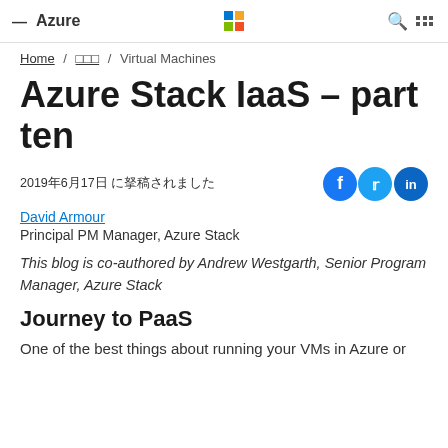≡ Azure [Microsoft logo] [search] [grid]
Home / □□□ / Virtual Machines
Azure Stack IaaS – part ten
2019年6月17日 に投稿されました
David Armour
Principal PM Manager, Azure Stack
This blog is co-authored by Andrew Westgarth, Senior Program Manager, Azure Stack
Journey to PaaS
One of the best things about running your VMs in Azure or